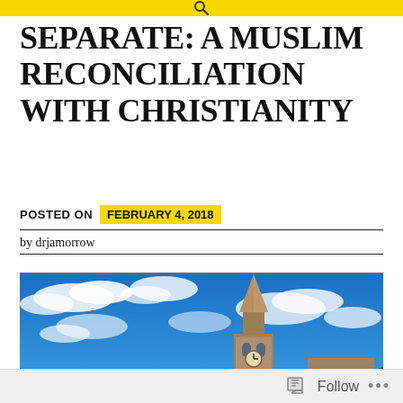SEPARATE: A MUSLIM RECONCILIATION WITH CHRISTIANITY
POSTED ON  FEBRUARY 4, 2018
by drjamorrow
[Figure (photo): Church steeple with clock tower against a vivid blue sky with white clouds. A stone building with arched windows is visible at the base of the steeple.]
Follow ...